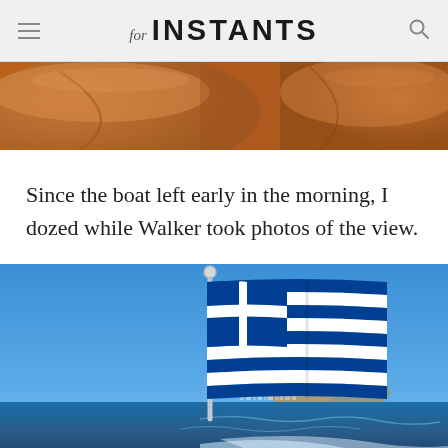for INSTANTS
[Figure (photo): Close-up of tan/caramel leather boat seats]
Since the boat left early in the morning, I dozed while Walker took photos of the view.
[Figure (photo): Greek flag waving against a bright blue sky with coastline and sea in background, taken from a moving boat]